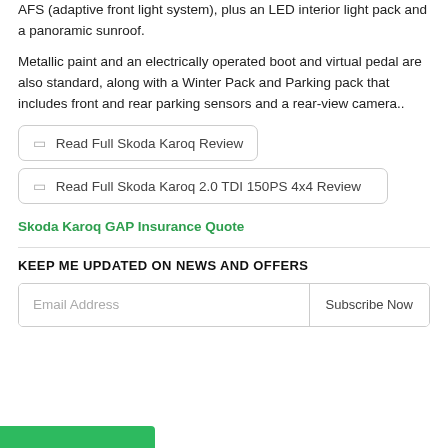AFS (adaptive front light system), plus an LED interior light pack and a panoramic sunroof.
Metallic paint and an electrically operated boot and virtual pedal are also standard, along with a Winter Pack and Parking pack that includes front and rear parking sensors and a rear-view camera..
⬜ Read Full Skoda Karoq Review
⬜ Read Full Skoda Karoq 2.0 TDI 150PS 4x4 Review
Skoda Karoq GAP Insurance Quote
KEEP ME UPDATED ON NEWS AND OFFERS
Email Address   Subscribe Now